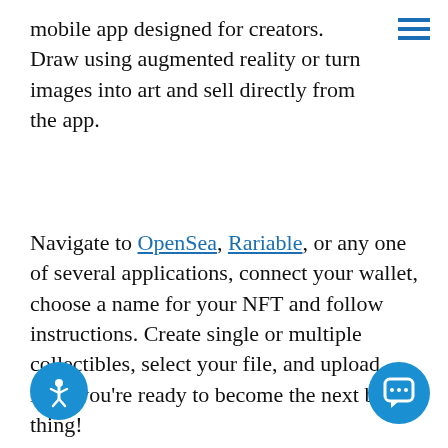mobile app designed for creators. Draw using augmented reality or turn images into art and sell directly from the app.
Navigate to OpenSea, Rariable, or any one of several applications, connect your wallet, choose a name for your NFT and follow instructions. Create single or multiple collectibles, select your file, and upload. Now you're ready to become the next big thing!
PROMOTE
[Figure (illustration): Promotional illustration showing a smartphone with a megaphone and social media icons floating around it on a teal background]